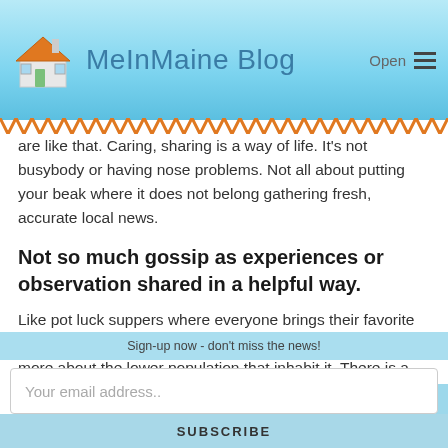MeInMaine Blog
are like that. Caring, sharing is a way of life. It's not busybody or having nose problems. Not all about putting your beak where it does not belong gathering fresh, accurate local news.
Not so much gossip as experiences or observation shared in a helpful way.
Like pot luck suppers where everyone brings their favorite covered dish. In small Maine communities, everyone cares more about the lower population that inhabit it. There is a strong connection and we worry about each other, include them in o…
Sign-up now - don't miss the news!
Your email address..
SUBSCRIBE